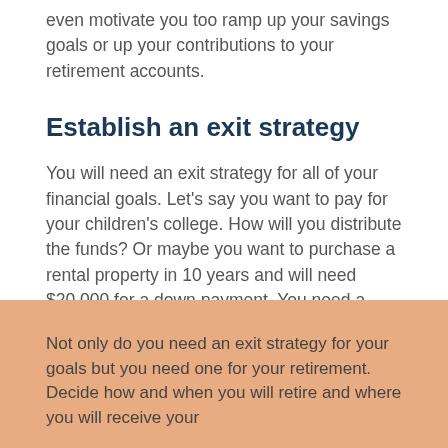even motivate you too ramp up your savings goals or up your contributions to your retirement accounts.
Establish an exit strategy
You will need an exit strategy for all of your financial goals. Let’s say you want to pay for your children’s college. How will you distribute the funds? Or maybe you want to purchase a rental property in 10 years and will need $20,000 for a down payment. You need a plan for distributing these funds as well.
Not only do you need an exit strategy for your goals but you need one for your retirement. Decide how and when you will retire and where you will receive your